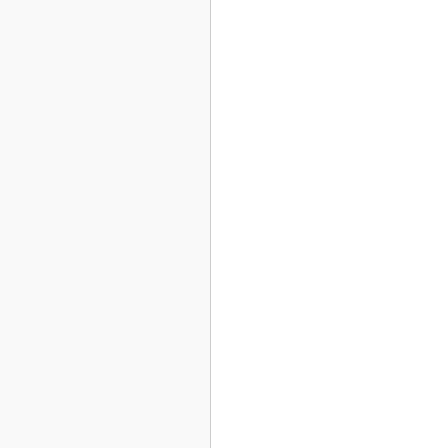t h e r s t a t i o n r e a d i n g s , a n d